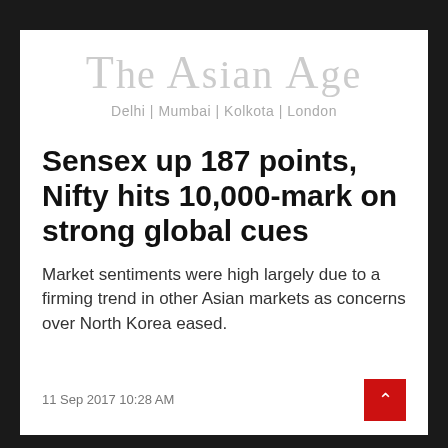The Asian Age
Delhi | Mumbai | Kolkota | London
Sensex up 187 points, Nifty hits 10,000-mark on strong global cues
Market sentiments were high largely due to a firming trend in other Asian markets as concerns over North Korea eased.
11 Sep 2017 10:28 AM